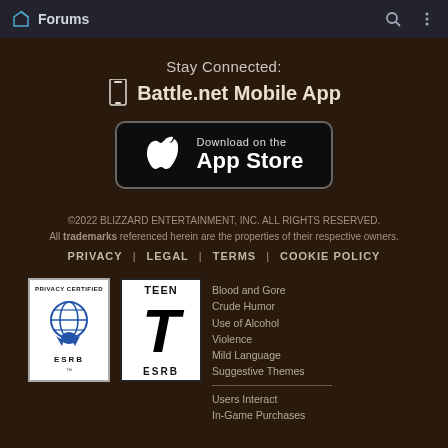Forums
Stay Connected:
Battle.net Mobile App
[Figure (logo): Download on the App Store button with Apple logo]
©2022 BLIZZARD ENTERTAINMENT, INC. ALL RIGHTS RESERVED. All trademarks referenced herein are the properties of their respective owners.
PRIVACY | LEGAL | TERMS | COOKIE POLICY
[Figure (logo): ESRB Privacy Certified seal with globe and ribbon logo]
[Figure (logo): ESRB TEEN rating badge with large T]
Blood and Gore
Crude Humor
Use of Alcohol
Violence
Mild Language
Suggestive Themes
Users Interact
In-Game Purchases